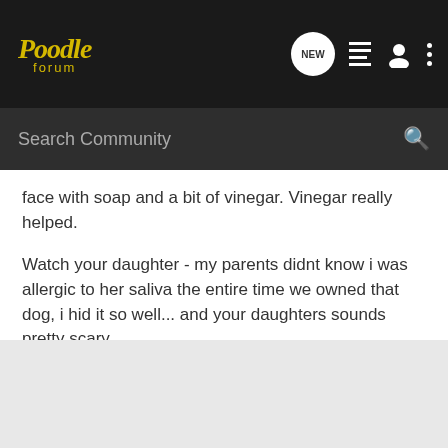Poodle forum
face with soap and a bit of vinegar. Vinegar really helped.

Watch your daughter - my parents didnt know i was allergic to her saliva the entire time we owned that dog, i hid it so well... and your daughters sounds pretty scary .
I really hope to hear good news, allergies are so difficult!!!
Liz